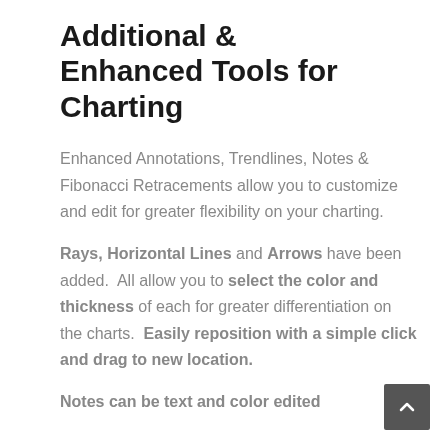Additional & Enhanced Tools for Charting
Enhanced Annotations, Trendlines, Notes & Fibonacci Retracements allow you to customize and edit for greater flexibility on your charting.
Rays, Horizontal Lines and Arrows have been added.  All allow you to select the color and thickness of each for greater differentiation on the charts.  Easily reposition with a simple click and drag to new location.
Notes can be text and color edited